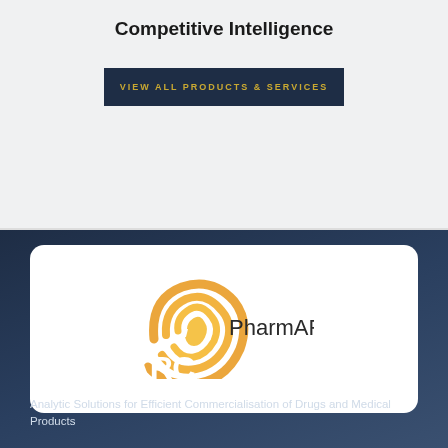Competitive Intelligence
VIEW ALL PRODUCTS & SERVICES
[Figure (logo): PharmARC logo: orange spiral/concentric arc graphic with text 'PharmARC' in dark font]
PharmARC
Analytic Solutions for Efficient Commercialisation of Drugs and Medical Products